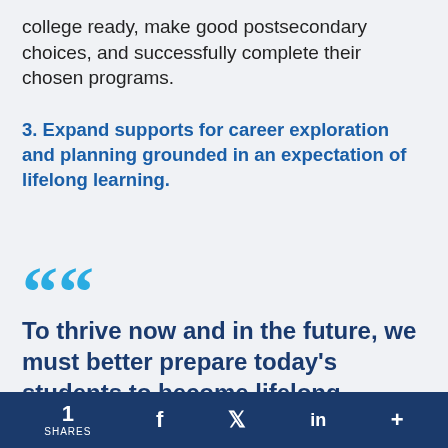college ready, make good postsecondary choices, and successfully complete their chosen programs.
3. Expand supports for career exploration and planning grounded in an expectation of lifelong learning.
““
To thrive now and in the future, we must better prepare today’s students to become lifelong learners and to anticipate several
1 SHARES  f    in  +